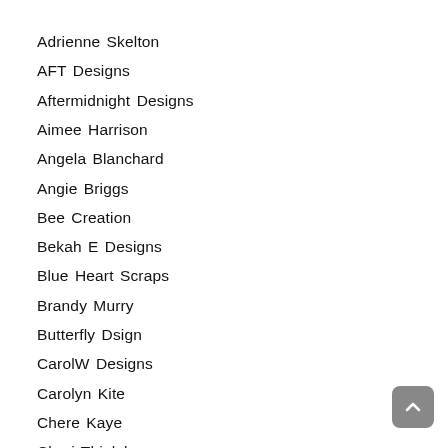Adrienne Skelton
AFT Designs
Aftermidnight Designs
Aimee Harrison
Angela Blanchard
Angie Briggs
Bee Creation
Bekah E Designs
Blue Heart Scraps
Brandy Murry
Butterfly Dsign
CarolW Designs
Carolyn Kite
Chere Kaye
Cheri Thieleke
Cherise Oleson
Connie Prince